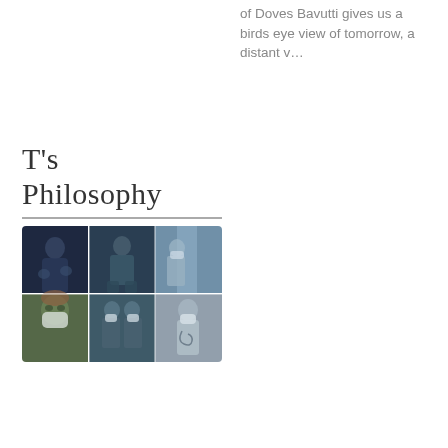of Doves Bavutti gives us a birds eye view of tomorrow, a distant v…
T's Philosophy
[Figure (photo): A collage of six photographs showing healthcare workers in PPE (masks, gowns, gloves) in various clinical and pandemic settings.]